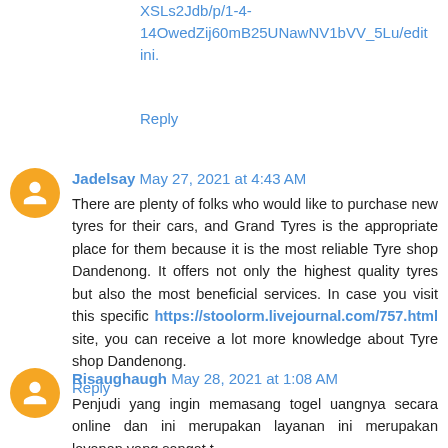XSLs2Jdb/p/1-4-14OwedZij60mB25UNawNV1bVV_5Lu/edit
ini.
Reply
Jadelsay May 27, 2021 at 4:43 AM
There are plenty of folks who would like to purchase new tyres for their cars, and Grand Tyres is the appropriate place for them because it is the most reliable Tyre shop Dandenong. It offers not only the highest quality tyres but also the most beneficial services. In case you visit this specific https://stoolorm.livejournal.com/757.html site, you can receive a lot more knowledge about Tyre shop Dandenong.
Reply
Risaughaugh May 28, 2021 at 1:08 AM
Penjudi yang ingin memasang togel uangnya secara online dan ini merupakan layanan ini merupakan layanan yang sangat t